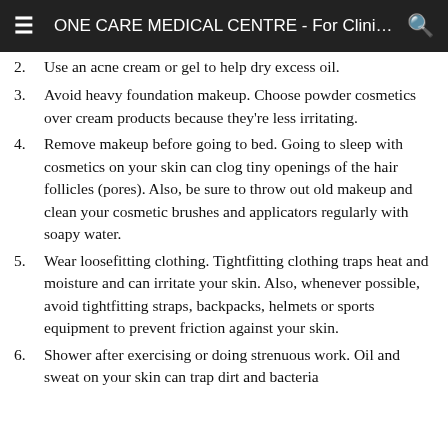ONE CARE MEDICAL CENTRE - For Clinical Ex...
2. Use an acne cream or gel to help dry excess oil.
3. Avoid heavy foundation makeup. Choose powder cosmetics over cream products because they're less irritating.
4. Remove makeup before going to bed. Going to sleep with cosmetics on your skin can clog tiny openings of the hair follicles (pores). Also, be sure to throw out old makeup and clean your cosmetic brushes and applicators regularly with soapy water.
5. Wear loosefitting clothing. Tightfitting clothing traps heat and moisture and can irritate your skin. Also, whenever possible, avoid tightfitting straps, backpacks, helmets or sports equipment to prevent friction against your skin.
6. Shower after exercising or doing strenuous work. Oil and sweat on your skin can trap dirt and bacteria...